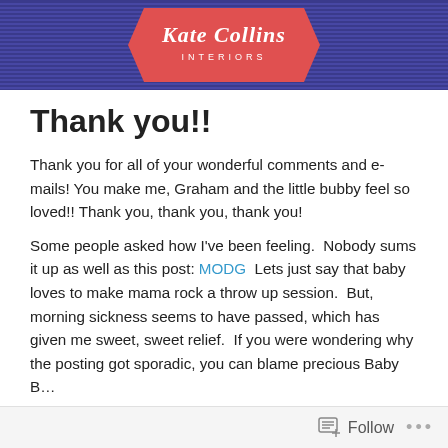[Figure (logo): Kate Collins Interiors logo on a red badge shape against a dark blue striped banner background]
Thank you!!
Thank you for all of your wonderful comments and e-mails! You make me, Graham and the little bubby feel so loved!! Thank you, thank you, thank you!
Some people asked how I've been feeling. Nobody sums it up as well as this post: MODG Lets just say that baby loves to make mama rock a throw up session. But, morning sickness seems to have passed, which has given me sweet, sweet relief. If you were wondering why the posting got sporadic, you can blame precious Baby B…
Follow